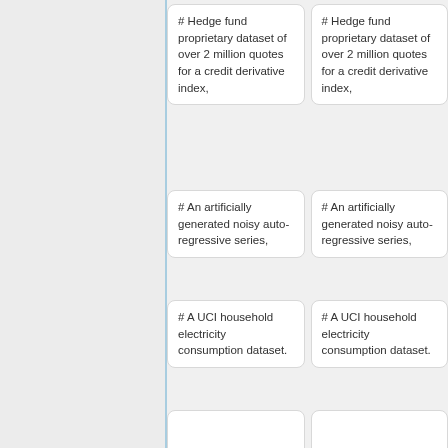# Hedge fund proprietary dataset of over 2 million quotes for a credit derivative index,
# Hedge fund proprietary dataset of over 2 million quotes for a credit derivative index,
# An artificially generated noisy auto-regressive series,
# An artificially generated noisy auto-regressive series,
# A UCI household electricity consumption dataset.
# A UCI household electricity consumption dataset.
This paper focuses on time series with
This paper focused on time series that have